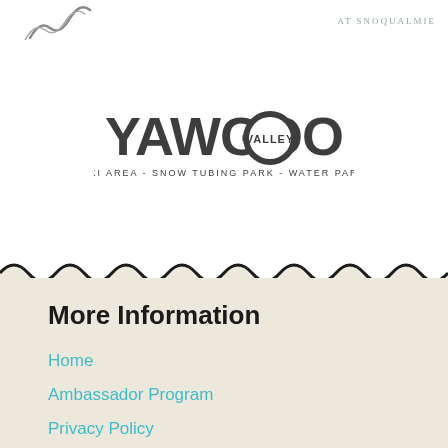[Figure (logo): Partial logo at top left with curved lines (possibly smoke/steam graphic)]
[Figure (logo): Text logo reading 'AT SNOQUALMIE' in gray spaced caps at top right]
[Figure (logo): Yawgoo Valley logo with bold stylized text YAWGOO VALLEY and subtitle SKI AREA - SNOW TUBING PARK - WATER PARK]
More Information
Home
Ambassador Program
Privacy Policy
Terms of Service